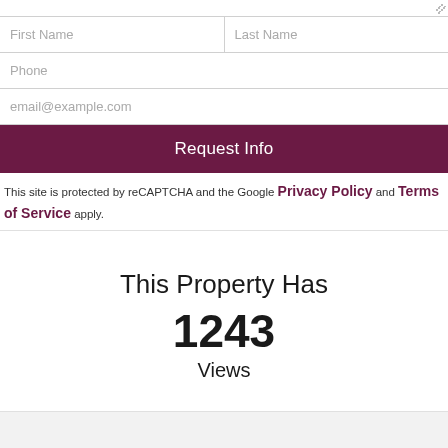First Name | Last Name
Phone
email@example.com
Request Info
This site is protected by reCAPTCHA and the Google Privacy Policy and Terms of Service apply.
This Property Has
1243
Views